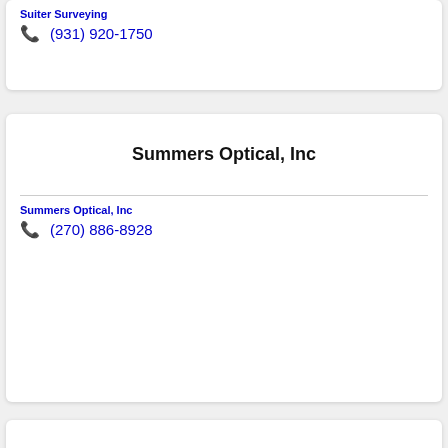Suiter Surveying
(931) 920-1750
Summers Optical, Inc
Summers Optical, Inc
(270) 886-8928